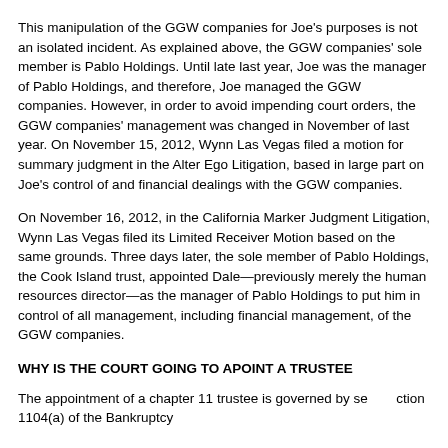This manipulation of the GGW companies for Joe's purposes is not an isolated incident. As explained above, the GGW companies' sole member is Pablo Holdings. Until late last year, Joe was the manager of Pablo Holdings, and therefore, Joe managed the GGW companies. However, in order to avoid impending court orders, the GGW companies' management was changed in November of last year. On November 15, 2012, Wynn Las Vegas filed a motion for summary judgment in the Alter Ego Litigation, based in large part on Joe's control of and financial dealings with the GGW companies.
On November 16, 2012, in the California Marker Judgment Litigation, Wynn Las Vegas filed its Limited Receiver Motion based on the same grounds. Three days later, the sole member of Pablo Holdings, the Cook Island trust, appointed Dale—previously merely the human resources director—as the manager of Pablo Holdings to put him in control of all management, including financial management, of the GGW companies.
WHY IS THE COURT GOING TO APOINT A TRUSTEE
The appointment of a chapter 11 trustee is governed by section 1104(a) of the Bankruptcy